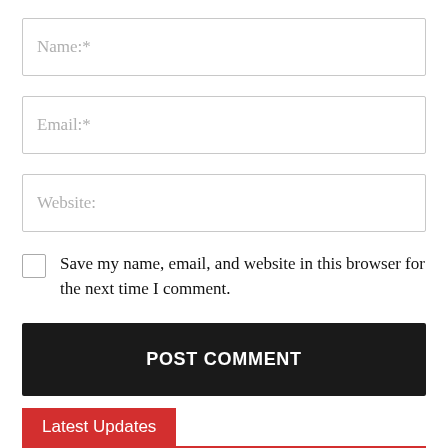Name:*
Email:*
Website:
Save my name, email, and website in this browser for the next time I comment.
POST COMMENT
Latest Updates